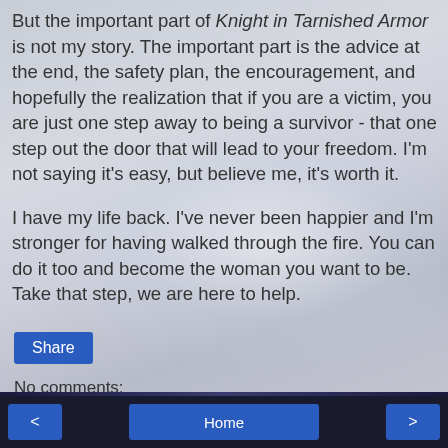But the important part of Knight in Tarnished Armor is not my story. The important part is the advice at the end, the safety plan, the encouragement, and hopefully the realization that if you are a victim, you are just one step away to being a survivor - that one step out the door that will lead to your freedom. I'm not saying it's easy, but believe me, it's worth it.

I have my life back. I've never been happier and I'm stronger for having walked through the fire. You can do it too and become the woman you want to be. Take that step, we are here to help.
Share
No comments:
Post a Comment
< Home >